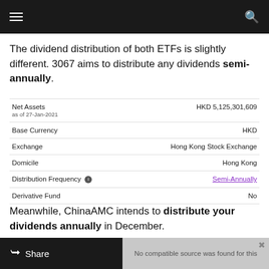navigation bar with hamburger menu and search icon
The dividend distribution of both ETFs is slightly different. 3067 aims to distribute any dividends semi-annually.
|  |  |
| --- | --- |
| Net Assets
as of 27-Jan-2021 | HKD 5,125,301,609 |
| Base Currency | HKD |
| Exchange | Hong Kong Stock Exchange |
| Domicile | Hong Kong |
| Distribution Frequency (i) | Semi-Annually |
| Derivative Fund | No |
Meanwhile, ChinaAMC intends to distribute your dividends annually in December.
Share | No compatible source was found for this